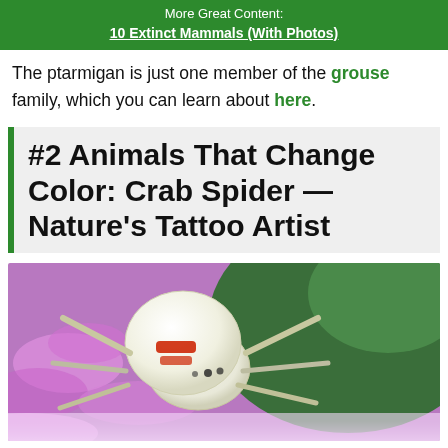More Great Content:
10 Extinct Mammals (With Photos)
The ptarmigan is just one member of the grouse family, which you can learn about here.
#2 Animals That Change Color: Crab Spider — Nature's Tattoo Artist
[Figure (photo): Close-up macro photo of a white crab spider with red markings on its abdomen, resting on pink/purple flowers against a green background.]